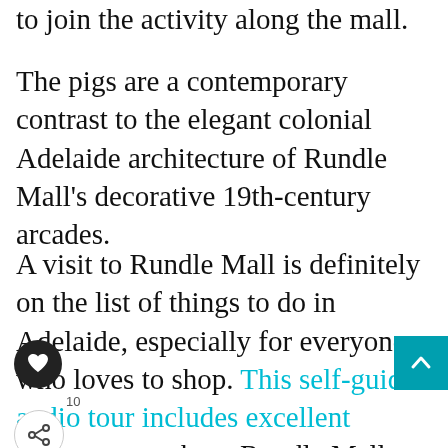to join the activity along the mall.
The pigs are a contemporary contrast to the elegant colonial Adelaide architecture of Rundle Mall's decorative 19th-century arcades.
A visit to Rundle Mall is definitely on the list of things to do in Adelaide, especially for everyone who loves to shop. This self-guided audio tour includes excellent commentary about Rundle Mall as well as other places in
[Figure (screenshot): UI overlay: heart/like button (dark circle with heart icon), share button, count '10', scroll-to-top button (teal), What's Next bar with '30 Amazing Things To D...' and circular city photo, advertisement banner saying 'SHE CAN STEM']